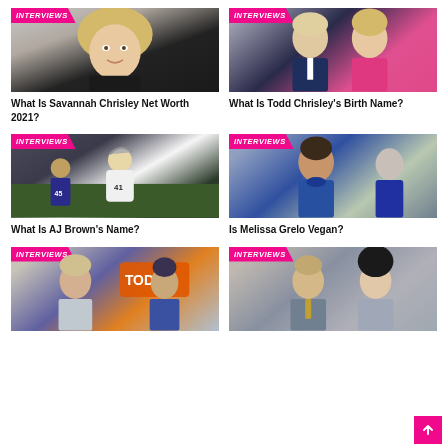[Figure (photo): Savannah Chrisley photo with INTERVIEWS badge]
What Is Savannah Chrisley Net Worth 2021?
[Figure (photo): Todd Chrisley and woman photo with INTERVIEWS badge]
What Is Todd Chrisley's Birth Name?
[Figure (photo): AJ Brown football action photo with INTERVIEWS badge]
What Is AJ Brown's Name?
[Figure (photo): Melissa Grelo photo with INTERVIEWS badge]
Is Melissa Grelo Vegan?
[Figure (photo): Today show hosts photo with INTERVIEWS badge]
[Figure (photo): Man and woman photo with INTERVIEWS badge]